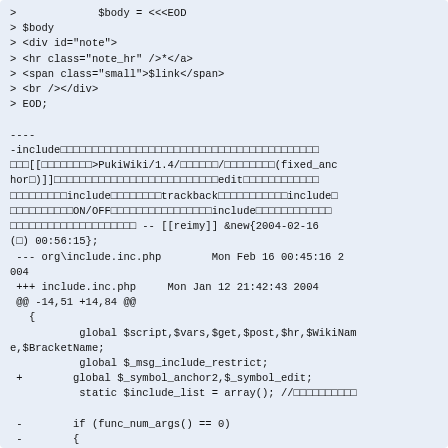> $body = <<<EOD
> $body
> <div id="note">
> <hr class="note_hr" />*</a>
> <span class="small">$link</span>
> <br /></div>
> EOD;

----
-include□□□□□□□□□□□□□□□□□□□□□□□□□□□□□□□□□□□□□□□□□
□□□[[□□□□□□□□>PukiWiki/1.4/□□□□□□/□□□□□□□□(fixed_anchor□)]]□□□□□□□□□□□□□□□□□□□□□□□□□□edit□□□□□□□□□□□□
□□□□□□□□□include□□□□□□□□trackback□□□□□□□□□□□include□
□□□□□□□□□□ON/OFF□□□□□□□□□□□□□□□□include□□□□□□□□□□□□
□□□□□□□□□□□□□□□□□□□□ -- [[reimy]] &new{2004-02-16
(□) 00:56:15};
 --- org\include.inc.php        Mon Feb 16 00:45:16 2
004
 +++ include.inc.php     Mon Jan 12 21:42:43 2004
 @@ -14,51 +14,84 @@
   {
           global $script,$vars,$get,$post,$hr,$WikiName,$BracketName;
           global $_msg_include_restrict;
 +        global $_symbol_anchor2,$_symbol_edit;
           static $include_list = array(); //□□□□□□□□□□

 -        if (func_num_args() == 0)
 -        {
 +        global $trackback;